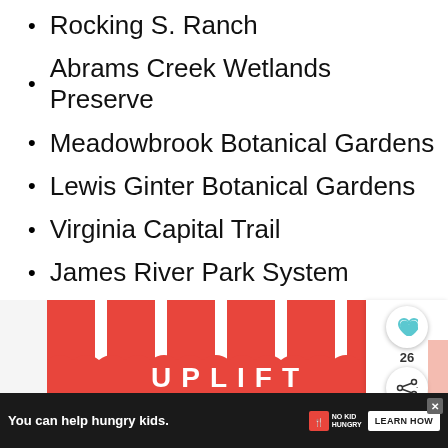Rocking S. Ranch
Abrams Creek Wetlands Preserve
Meadowbrook Botanical Gardens
Lewis Ginter Botanical Gardens
Virginia Capital Trail
James River Park System
Neabsco Creek Boardwalk Trail
[Figure (screenshot): UPLIFT branded advertisement banner with red and white vertical stripes and large white UPLIFT text on red background]
[Figure (screenshot): WHAT'S NEXT panel showing thumbnail and text '15 Spectacular Things to do...' with share and heart buttons]
[Figure (screenshot): Bottom advertisement bar for No Kid Hungry with text 'You can help hungry kids.' and LEARN HOW button on dark background]